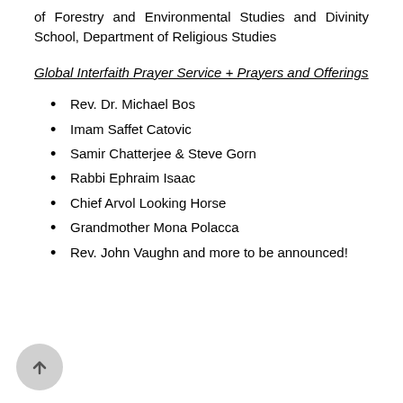of Forestry and Environmental Studies and Divinity School, Department of Religious Studies
Global Interfaith Prayer Service + Prayers and Offerings
Rev. Dr. Michael Bos
Imam Saffet Catovic
Samir Chatterjee & Steve Gorn
Rabbi Ephraim Isaac
Chief Arvol Looking Horse
Grandmother Mona Polacca
Rev. John Vaughn and more to be announced!